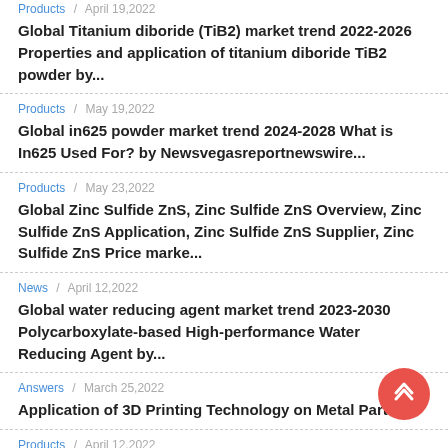Products / April 19,2022
Global Titanium diboride (TiB2) market trend 2022-2026 Properties and application of titanium diboride TiB2 powder by...
Products / May 19,2022
Global in625 powder market trend 2024-2028 What is In625 Used For? by Newsvegasreportnewswire...
Products / May 23,2022
Global Zinc Sulfide ZnS, Zinc Sulfide ZnS Overview, Zinc Sulfide ZnS Application, Zinc Sulfide ZnS Supplier, Zinc Sulfide ZnS Price marke...
News / April 12,2022
Global water reducing agent market trend 2023-2030 Polycarboxylate-based High-performance Water Reducing Agent by...
Answers / March 25,2022
Application of 3D Printing Technology on Metal Parts...
Products / April 12,2022
Global Synthetic Graphite market trend 2025-2027 What is Synthetic Graphite Powder? by Newsvegasreportnewswire...